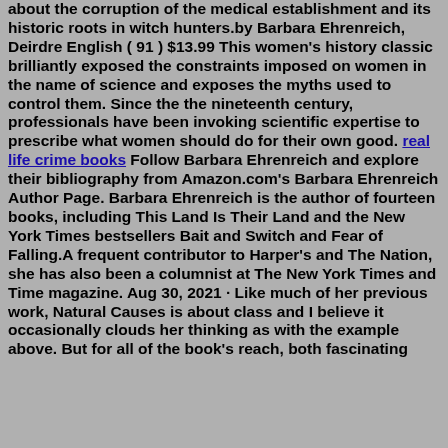about the corruption of the medical establishment and its historic roots in witch hunters.by Barbara Ehrenreich, Deirdre English ( 91 ) $13.99 This women's history classic brilliantly exposed the constraints imposed on women in the name of science and exposes the myths used to control them. Since the the nineteenth century, professionals have been invoking scientific expertise to prescribe what women should do for their own good. real life crime books Follow Barbara Ehrenreich and explore their bibliography from Amazon.com's Barbara Ehrenreich Author Page. Barbara Ehrenreich is the author of fourteen books, including This Land Is Their Land and the New York Times bestsellers Bait and Switch and Fear of Falling.A frequent contributor to Harper's and The Nation, she has also been a columnist at The New York Times and Time magazine. Aug 30, 2021 · Like much of her previous work, Natural Causes is about class and I believe it occasionally clouds her thinking as with the example above. But for all of the book's reach, both fascinating